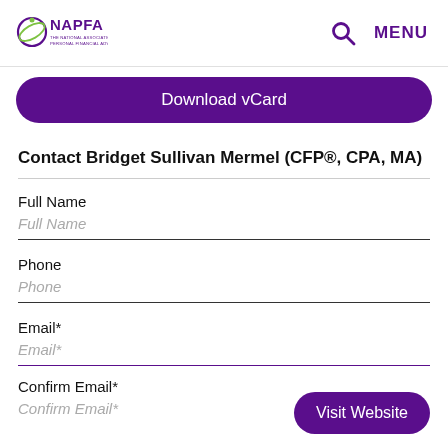NAPFA — THE NATIONAL ASSOCIATION OF PERSONAL FINANCIAL ADVISORS | Search | MENU
Download vCard
Contact Bridget Sullivan Mermel (CFP®, CPA, MA)
Full Name
Full Name (placeholder)
Phone
Phone (placeholder)
Email*
Email* (placeholder)
Confirm Email*
Confirm Email* (placeholder)
Visit Website